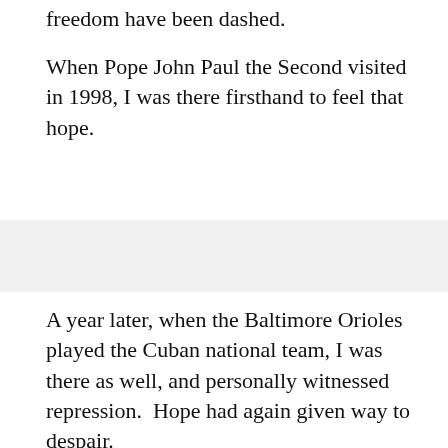freedom have been dashed.
When Pope John Paul the Second visited in 1998, I was there firsthand to feel that hope.
A year later, when the Baltimore Orioles played the Cuban national team, I was there as well, and personally witnessed repression.  Hope had again given way to despair.
Pope Benedict now visits Cuba at a time when opposition to the embargo is high, even among many Cuban Americans.
But despite its constant complaints about the embargo, the Cuban government seems not to care